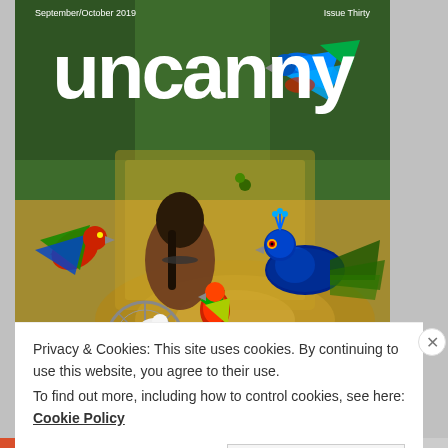[Figure (illustration): Cover of Uncanny Magazine, September/October 2019, Issue Thirty. Features a woman in a wheelchair surrounded by colorful exotic birds including macaws, parrots, and a peacock, set in a tropical ornate interior. The magazine title 'uncanny' appears in large white bold letters across the top.]
Privacy & Cookies: This site uses cookies. By continuing to use this website, you agree to their use.
To find out more, including how to control cookies, see here: Cookie Policy
Close and accept